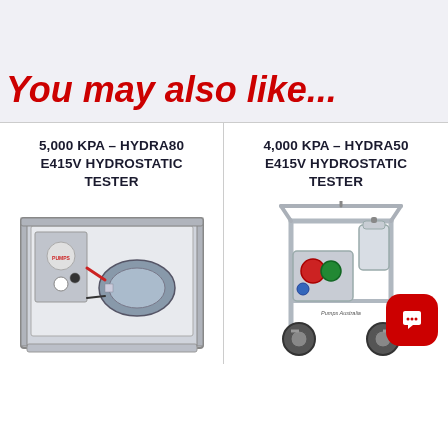You may also like...
5,000 KPA – HYDRA80 E415V HYDROSTATIC TESTER
[Figure (photo): HYDRA80 E415V Hydrostatic Tester unit inside a metal frame enclosure with motor and pump assembly visible]
4,000 KPA – HYDRA50 E415V HYDROSTATIC TESTER
[Figure (photo): HYDRA50 E415V Hydrostatic Tester on a wheeled cart frame with gauges, hoses and tank, Pumps Australia branding visible. Red chat widget icon in lower right corner.]